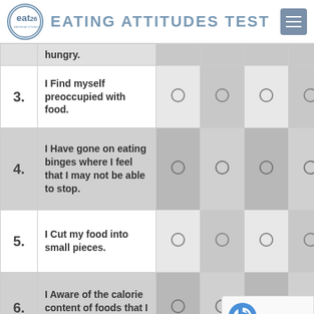EATING ATTITUDES TEST
| # | Question | Col1 | Col2 | Col3 | Col4 |
| --- | --- | --- | --- | --- | --- |
|  | hungry. |  |  |  |  |
| 3. | I Find myself preoccupied with food. | ○ | ○ | ○ | ○ |
| 4. | I Have gone on eating binges where I feel that I may not be able to stop. | ○ | ○ | ○ | ○ |
| 5. | I Cut my food into small pieces. | ○ | ○ | ○ | ○ |
| 6. | I Aware of the calorie content of foods that I eat. | ○ | ○ | ○ |  |